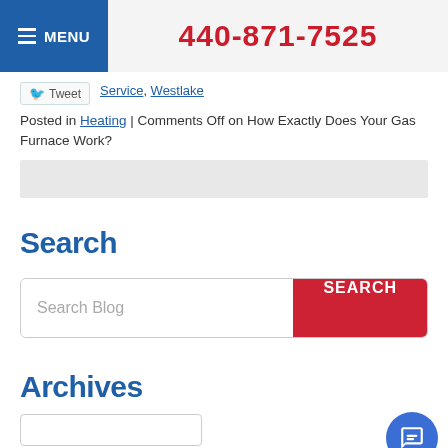MENU | 440-871-7525
Service, Westlake
Tweet
Posted in Heating | Comments Off on How Exactly Does Your Gas Furnace Work?
Search
Search Blog | SEARCH
Archives